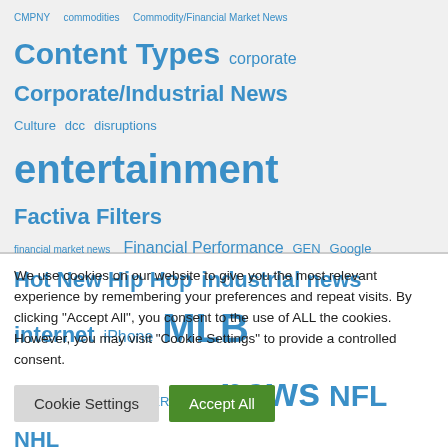CMPNY  commodities  Commodity/Financial Market News
Content Types  corporate  Corporate/Industrial News
Culture  dcc  disruptions  entertainment  Factiva Filters
financial market news  Financial Performance  GEN  Google
Hot New Hip Hop  industrial news  internet  iPhone  MLB
motley-fool  Music  NAMER  NBA  news  NFL  NHL
personal finance  Reviews  share price movement
We use cookies on our website to give you the most relevant experience by remembering your preferences and repeat visits. By clicking "Accept All", you consent to the use of ALL the cookies. However, you may visit "Cookie Settings" to provide a controlled consent.